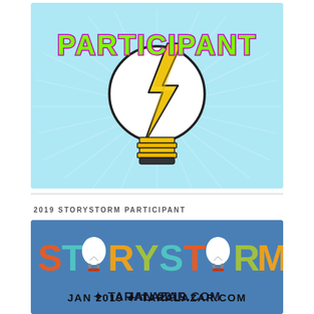[Figure (logo): Participant badge with light bulb and lightning bolt on light blue background with green and purple 'PARTICIPANT' text]
2019 STORYSTORM PARTICIPANT
[Figure (logo): StoryStorm 2019 banner with colorful letters, light bulb icons replacing O letters, on blue background. Text: STORYSTORM JAN 2019 * TARALAZAR.COM]